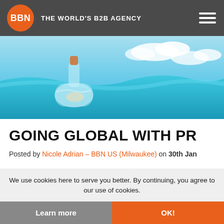BBN THE WORLD'S B2B AGENCY
[Figure (photo): A glass bottle with a cork floating half-submerged in turquoise water, with a blue sky and clouds in the background.]
GOING GLOBAL WITH PR
Posted by Nicole Adrian – BBN US (Milwaukee) on 30th Jan
We use cookies here to serve you better. By continuing, you agree to our use of cookies.
Learn more   OK!